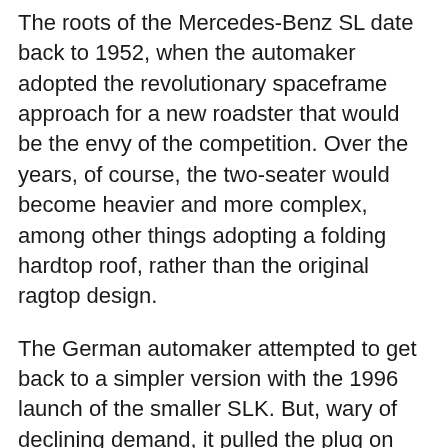The roots of the Mercedes-Benz SL date back to 1952, when the automaker adopted the revolutionary spaceframe approach for a new roadster that would be the envy of the competition. Over the years, of course, the two-seater would become heavier and more complex, among other things adopting a folding hardtop roof, rather than the original ragtop design.
The German automaker attempted to get back to a simpler version with the 1996 launch of the smaller SLK. But, wary of declining demand, it pulled the plug on that model a couple years back, leading some to suspect the SL would follow off into the sunset.
Insead, said Hermann, “We started from scratch, so to speak, without building on any existing structure. We can be justifiably proud of the result, which proves, once again, the high level of development competence in Affalterbach. On the one hand we have managed to reconcile the high package demands, while on the